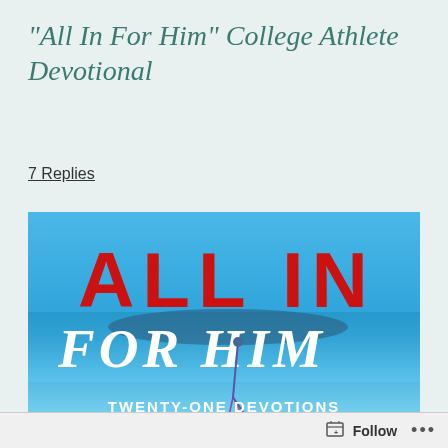"All In For Him" College Athlete Devotional
7 Replies
[Figure (illustration): Book cover image with blue background showing 'ALL IN' in large red block letters, 'FOR HIM' in large white italic script, and 'TWENTY-ONE DEVOTIONS' in white text at the bottom. A fishing lure or sports equipment is visible in the center.]
Follow ...